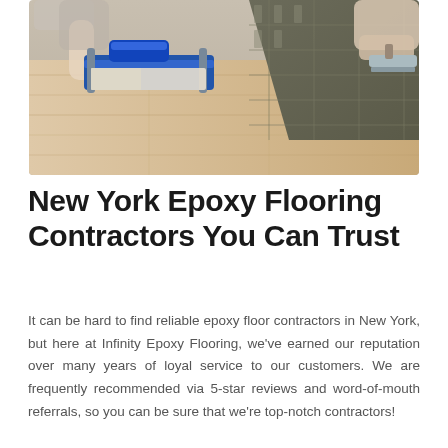[Figure (photo): Two workers installing flooring — one using a tile cutter tool on a light wood plank floor, the other spreading adhesive/mortar on a dark textured tile section with a notched trowel.]
New York Epoxy Flooring Contractors You Can Trust
It can be hard to find reliable epoxy floor contractors in New York, but here at Infinity Epoxy Flooring, we've earned our reputation over many years of loyal service to our customers. We are frequently recommended via 5-star reviews and word-of-mouth referrals, so you can be sure that we're top-notch contractors!